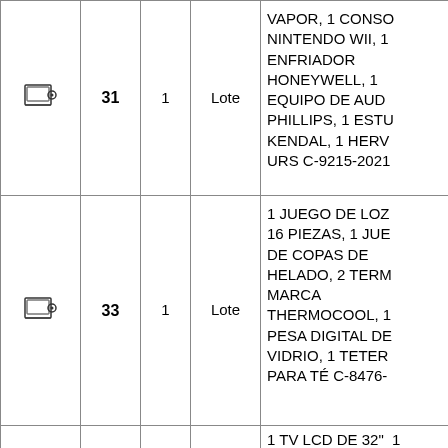|  |  |  |  |  |
| --- | --- | --- | --- | --- |
| [icon] | 31 | 1 | Lote | VAPOR, 1 CONSO NINTENDO WII, 1 ENFRIADOR HONEYWELL, 1 EQUIPO DE AUD PHILLIPS, 1 ESTU KENDAL, 1 HERV URS C-9215-2021 |
| [icon] | 33 | 1 | Lote | 1 JUEGO DE LOZ 16 PIEZAS, 1 JUE DE COPAS DE HELADO, 2 TERM MARCA THERMOCOOL, 1 PESA DIGITAL DE VIDRIO, 1 TETER PARA TÉ C-8476- |
|  |  |  |  | 1 TV LCD DE 32" 1 CÁMARA SAMS 1 EQUIPO DE MÚ |